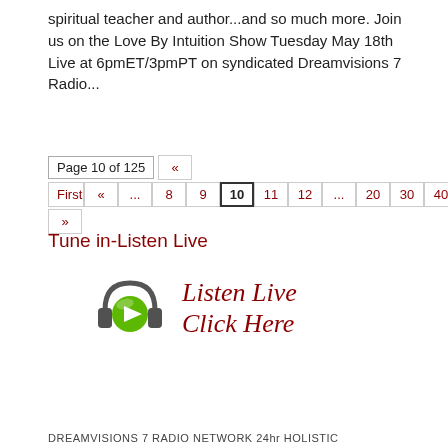spiritual teacher and author...and so much more.  Join us on the Love By Intuition Show Tuesday May 18th Live at 6pmET/3pmPT on syndicated Dreamvisions 7 Radio...
Page 10 of 125  «  First « ... 8 9 10 11 12 ... 20 30 40 ... » »
Tune in-Listen Live
[Figure (illustration): Headphones with green play button in center, with text 'Listen Live Click Here' in dark red italic serif font]
DREAMVISIONS 7 RADIO NETWORK 24hr HOLISTIC